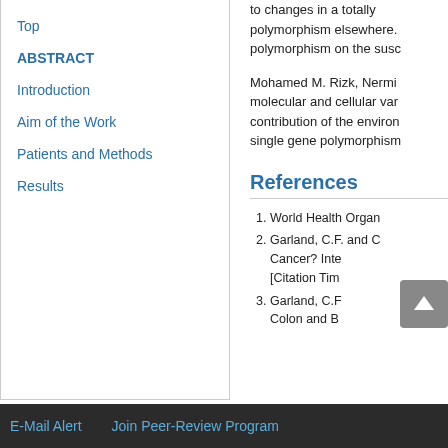to changes in a totally polymorphism elsewhere. polymorphism on the susc
Mohamed M. Rizk, Nermi molecular and cellular var contribution of the environ single gene polymorphism
Top
ABSTRACT
Introduction
Aim of the Work
Patients and Methods
Results
References
1. World Health Organ
2. Garland, C.F. and C Cancer? Inte [Citation Tim
3. Garland, C.F Colon and B
E-Mail Alert   Join Peer-Review Program